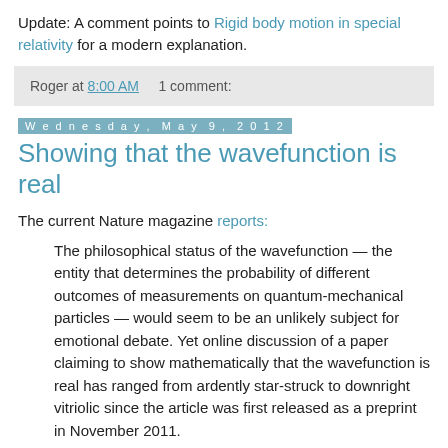Update: A comment points to Rigid body motion in special relativity for a modern explanation.
Roger at 8:00 AM    1 comment:
Wednesday, May 9, 2012
Showing that the wavefunction is real
The current Nature magazine reports:
The philosophical status of the wavefunction — the entity that determines the probability of different outcomes of measurements on quantum-mechanical particles — would seem to be an unlikely subject for emotional debate. Yet online discussion of a paper claiming to show mathematically that the wavefunction is real has ranged from ardently star-struck to downright vitriolic since the article was first released as a preprint in November 2011.